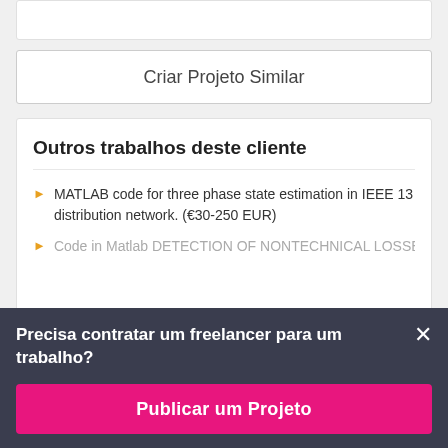Criar Projeto Similar
Outros trabalhos deste cliente
MATLAB code for three phase state estimation in IEEE 13 distribution network. (€30-250 EUR)
Code in Matlab DETECTION OF NONTECHNICAL LOSSES
Precisa contratar um freelancer para um trabalho?
Publicar um Projeto